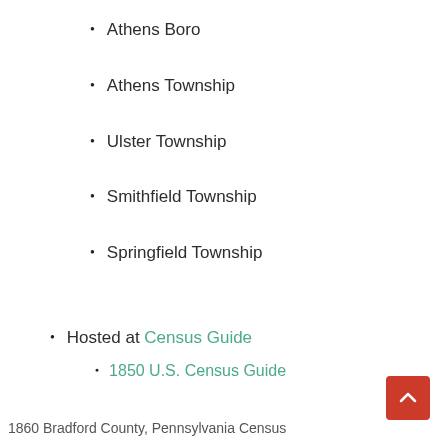Athens Boro
Athens Township
Ulster Township
Smithfield Township
Springfield Township
Hosted at Census Guide
1850 U.S. Census Guide
1860 Bradford County, Pennsylvania Census